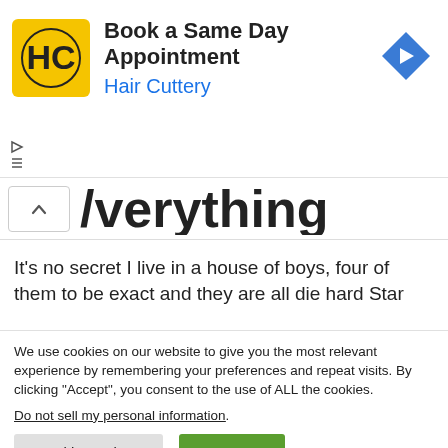[Figure (infographic): Hair Cuttery advertisement banner with yellow HC logo, text 'Book a Same Day Appointment' and 'Hair Cuttery', and a blue diamond navigation arrow icon on the right.]
/verything
It’s no secret I live in a house of boys, four of them to be exact and they are all die hard Star
We use cookies on our website to give you the most relevant experience by remembering your preferences and repeat visits. By clicking “Accept”, you consent to the use of ALL the cookies.
Do not sell my personal information.